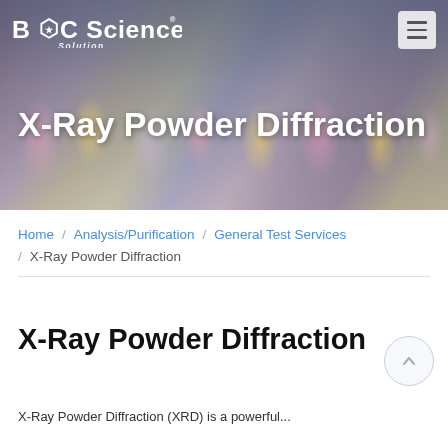[Figure (photo): Hero banner showing laboratory glassware with colorful liquids (pink, yellow, purple) on a lab bench, with dark overlay. BOC Sciences logo and hamburger menu in top navigation.]
X-Ray Powder Diffraction
Home / Analysis/Purification / General Test Services / X-Ray Powder Diffraction
X-Ray Powder Diffraction
X-Ray Powder Diffraction (XRD) is a powerful...